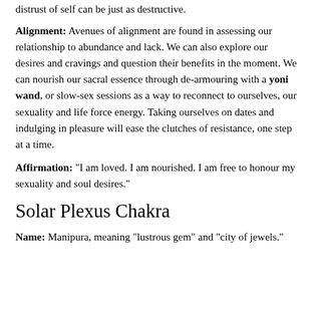distrust of self can be just as destructive.
Alignment: Avenues of alignment are found in assessing our relationship to abundance and lack. We can also explore our desires and cravings and question their benefits in the moment. We can nourish our sacral essence through de-armouring with a yoni wand, or slow-sex sessions as a way to reconnect to ourselves, our sexuality and life force energy. Taking ourselves on dates and indulging in pleasure will ease the clutches of resistance, one step at a time.
Affirmation: “I am loved. I am nourished. I am free to honour my sexuality and soul desires.”
Solar Plexus Chakra
Name: Manipura, meaning “lustrous gem” and “city of jewels.”